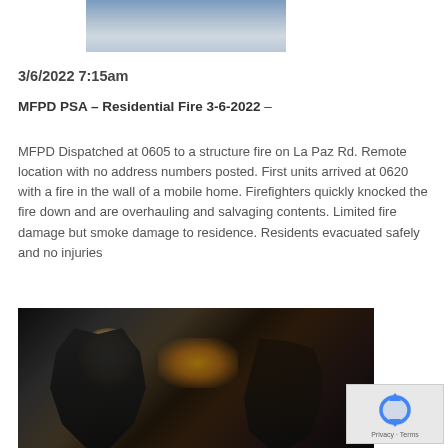[Figure (photo): Top portion of a photo showing pavement or debris, partially cropped at the top of the page]
3/6/2022 7:15am
MFPD PSA – Residential Fire 3-6-2022 –
MFPD Dispatched at 0605 to a structure fire on La Paz Rd. Remote location with no address numbers posted. First units arrived at 0620 with a fire in the wall of a mobile home. Firefighters quickly knocked the fire down and are overhauling and salvaging contents. Limited fire damage but smoke damage to residence. Residents evacuated safely and no injuries
[Figure (photo): Firefighters working inside a smoke-filled mobile home, silhouetted against bright light, pulling at wall materials]
[Figure (other): reCAPTCHA privacy badge with blue circular arrow logo and Privacy · Terms text]